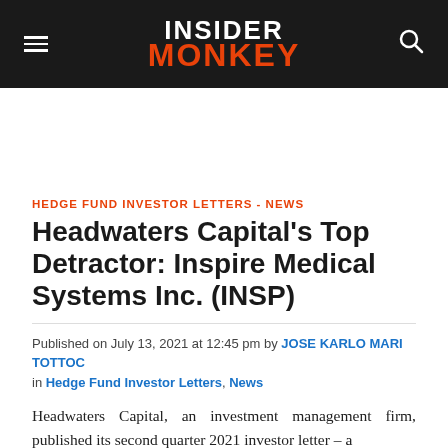INSIDER MONKEY
HEDGE FUND INVESTOR LETTERS - NEWS
Headwaters Capital's Top Detractor: Inspire Medical Systems Inc. (INSP)
Published on July 13, 2021 at 12:45 pm by JOSE KARLO MARI TOTTOC in Hedge Fund Investor Letters, News
Headwaters Capital, an investment management firm, published its second quarter 2021 investor letter – a